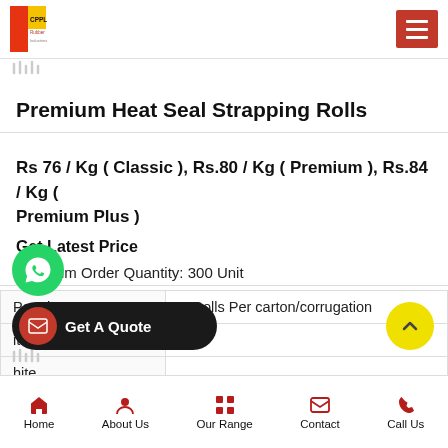CPPL - [logo]
Premium Heat Seal Strapping Rolls
Rs 76 / Kg ( Classic ), Rs.80 / Kg ( Premium ), Rs.84 / Kg ( Premium Plus )
Get Latest Price
Minimum Order Quantity: 300 Unit
| Packaging Type | 2 Rolls Per carton/corrugation |
| ition | New |
| hite |  |
Home | About Us | Our Range | Contact | Call Us